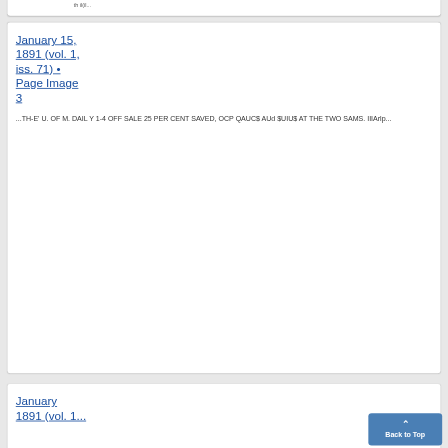th il(il...
January 15, 1891 (vol. 1, iss. 71) • Page Image 3
...TH-E' U. OF M. DAILY 1-4 OFF SALE 25 PER CENT SAVED, OCP QAUC$ AUd $UIU$ AT THE TWO SAMS. IIIArlp...
January 1891 (vol. 1...